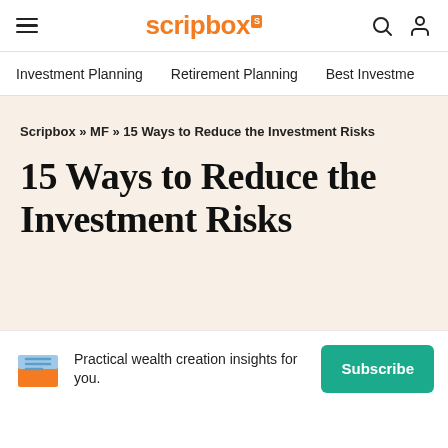Scripbox [logo] | Investment Planning | Retirement Planning | Best Investme
Scripbox » MF » 15 Ways to Reduce the Investment Risks
15 Ways to Reduce the Investment Risks
Practical wealth creation insights for you. [Subscribe button]